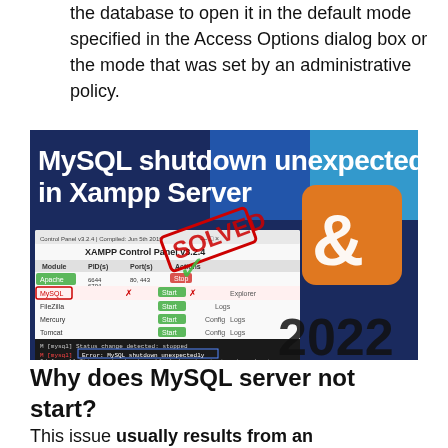the database to open it in the default mode specified in the Access Options dialog box or the mode that was set by an administrative policy.
[Figure (screenshot): YouTube video thumbnail showing 'MySQL shutdown unexpectedly in Xampp Server' with XAMPP Control Panel screenshot, SOLVED stamp, YouTube play button, XAMPP logo, and '2022' text on dark blue background.]
Why does MySQL server not start?
This issue usually results from an